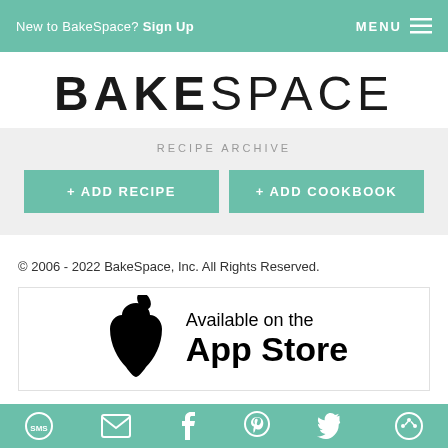New to BakeSpace? Sign Up   MENU
BAKESPACE
RECIPE ARCHIVE
+ ADD RECIPE   + ADD COOKBOOK
© 2006 - 2022 BakeSpace, Inc. All Rights Reserved.
[Figure (screenshot): Available on the App Store badge with Apple logo]
SMS, email, Facebook, Pinterest, Twitter, and share social icons